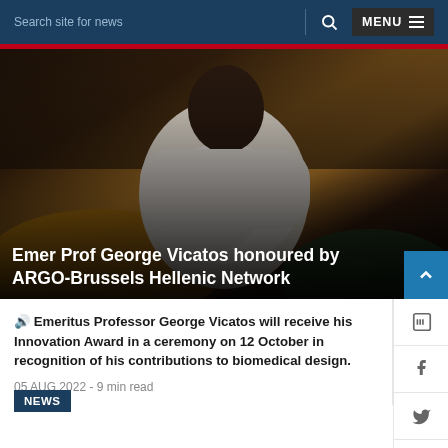Search site for news    🔍  MENU
[Figure (photo): Elderly person wearing a white sweater or bandaged arm, seated in a chair, photographed in a room with bookshelves in background. The image is overlaid with a dark gradient at the bottom.]
Emer Prof George Vicatos honoured by ARGO-Brussels Hellenic Network
🔊 Emeritus Professor George Vicatos will receive his Innovation Award in a ceremony on 12 October in recognition of his contributions to biomedical design.
05 AUG 2022 - 9 min read
NEWS